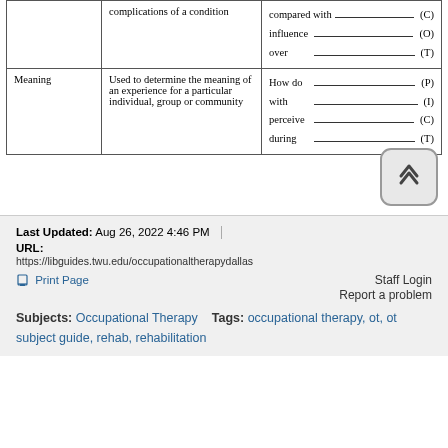| Type | Description | Question Template |
| --- | --- | --- |
|  | complications of a condition | compared with ___ (C)
influence ___ (O)
over ___ (T) |
| Meaning | Used to determine the meaning of an experience for a particular individual, group or community | How do ___ (P)
with ___ (I)
perceive ___ (C)
during ___ (T) |
[Figure (other): Scroll-to-top button with upward chevron icon]
Last Updated: Aug 26, 2022 4:46 PM | URL: https://libguides.twu.edu/occupationaltherapydallas
Print Page   Staff Login   Report a problem
Subjects: Occupational Therapy   Tags: occupational therapy, ot, ot subject guide, rehab, rehabilitation